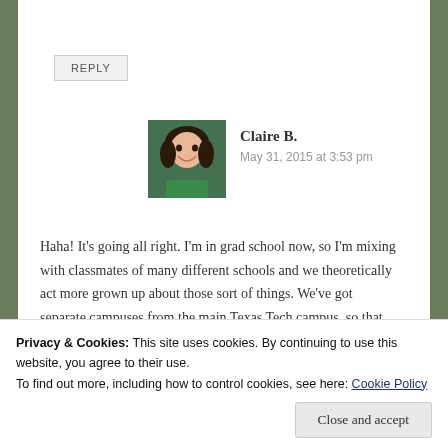REPLY
Claire B.
May 31, 2015 at 3:53 pm
[Figure (photo): Profile photo of Claire B., a woman smiling, wearing a green top, outdoors.]
Haha! It's going all right. I'm in grad school now, so I'm mixing with classmates of many different schools and we theoretically act more grown up about those sort of things. We've got separate campuses from the main Texas Tech campus, so that also helps. 😛
But yes, game day did get heated. A&M and Tech are in different conferences now, so that has somewhat
Privacy & Cookies: This site uses cookies. By continuing to use this website, you agree to their use.
To find out more, including how to control cookies, see here: Cookie Policy
Close and accept